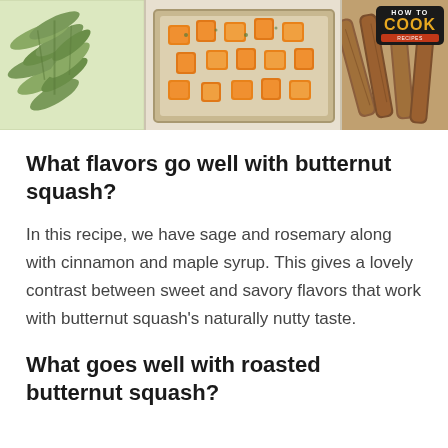[Figure (photo): Three-panel photo strip: left panel shows green sage leaves on light background, center panel shows roasted butternut squash cubes on a baking tray, right panel shows cinnamon sticks with a 'How to Cook Recipes' logo overlay]
What flavors go well with butternut squash?
In this recipe, we have sage and rosemary along with cinnamon and maple syrup. This gives a lovely contrast between sweet and savory flavors that work with butternut squash’s naturally nutty taste.
What goes well with roasted butternut squash?